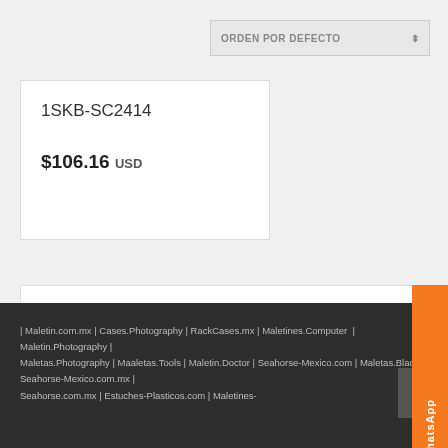ORDEN POR DEFECTO
1SKB-SC2414
$106.16 USD
[Figure (other): WhatsApp contact button on right side, orange background with WhatsApp icon]
| Maletin.com.mx | Cases.Photography | RackCases.mx | Maletines.Computer | Maletin.Photography | Maletas.Photography | Maaletas.Tools | Maletin.Doctor | Seahorse-Mexico.com | Maletas.Black | Seahorse-Mexico.com.mx | Seahorse.com.mx | Estuches-Plasticos.com | Maletines-